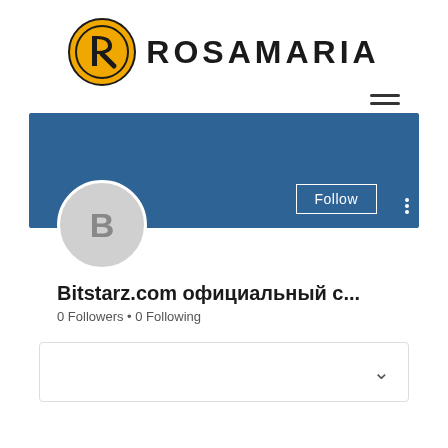[Figure (logo): Rosamaria brand logo: golden circle with stylized R lettermark and ROSAMARIA text in bold sans-serif]
[Figure (screenshot): Social media profile page screenshot showing a blue banner header with Follow button and three-dot menu, a gray avatar circle with letter B, profile name 'Bitstarz.com официальный с...', stats '0 Followers • 0 Following', and a collapsed card with chevron at bottom]